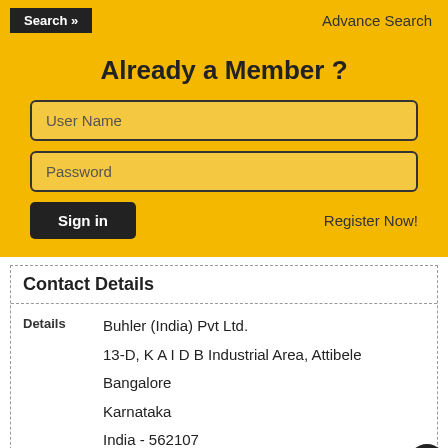Search »   Advance Search
Already a Member ?
User Name
Password
Sign in
Register Now!
Contact Details
Details
Buhler (India) Pvt Ltd.
13-D, K A I D B Industrial Area, Attibele Bangalore
Karnataka
India - 562107
Email Details
Mr...